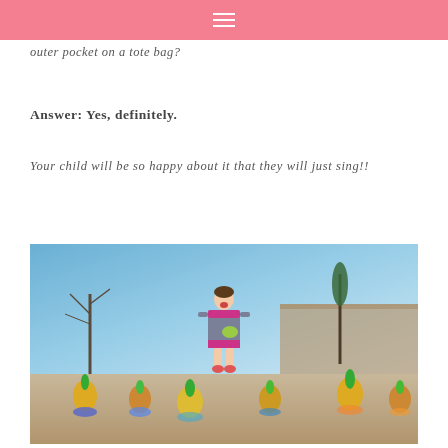≡
outer pocket on a tote bag?
Answer: Yes, definitely.
Your child will be so happy about it that they will just sing!!
[Figure (photo): A young child standing outdoors among colorful pineapples, mouth open as if singing, wearing a grey and pink dress with a green pocket, trees and a stone wall in the background.]